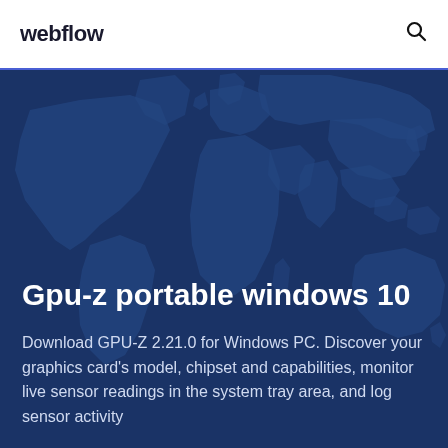webflow
Gpu-z portable windows 10
Download GPU-Z 2.21.0 for Windows PC. Discover your graphics card's model, chipset and capabilities, monitor live sensor readings in the system tray area, and log sensor activity